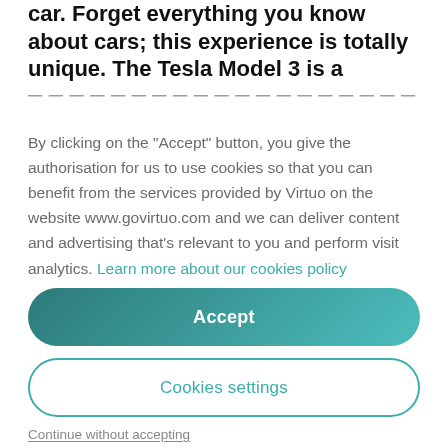car. Forget everything you know about cars; this experience is totally unique. The Tesla Model 3 is a
By clicking on the "Accept" button, you give the authorisation for us to use cookies so that you can benefit from the services provided by Virtuo on the website www.govirtuo.com and we can deliver content and advertising that's relevant to you and perform visit analytics. Learn more about our cookies policy
Accept
Cookies settings
Continue without accepting